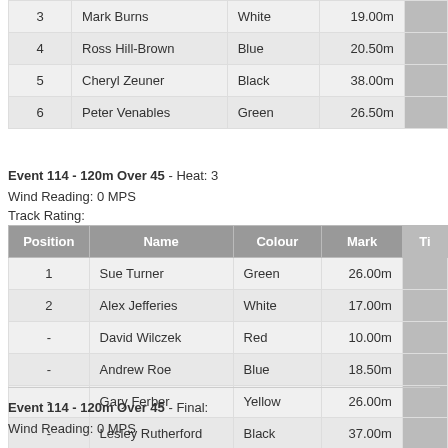| Position | Name | Colour | Mark | Ti |
| --- | --- | --- | --- | --- |
| 3 | Mark Burns | White | 19.00m |  |
| 4 | Ross Hill-Brown | Blue | 20.50m |  |
| 5 | Cheryl Zeuner | Black | 38.00m |  |
| 6 | Peter Venables | Green | 26.50m |  |
Event 114 - 120m Over 45 - Heat: 3
Wind Reading: 0 MPS
Track Rating:
| Position | Name | Colour | Mark | Ti |
| --- | --- | --- | --- | --- |
| 1 | Sue Turner | Green | 26.00m |  |
| 2 | Alex Jefferies | White | 17.00m |  |
| - | David Wilczek | Red | 10.00m |  |
| - | Andrew Roe | Blue | 18.50m |  |
| - | Gary Ferber | Yellow | 26.00m |  |
| - | Lesley Rutherford | Black | 37.00m |  |
Event 114 - 120m Over 45 - Final:
Wind Reading: 0 MPS